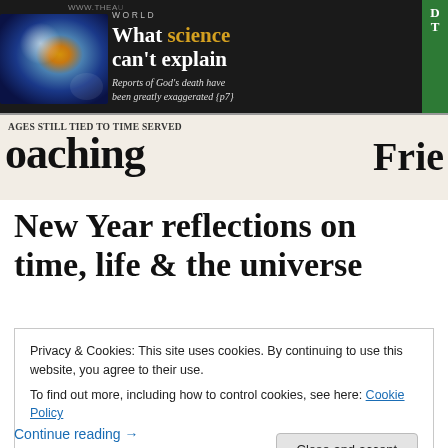[Figure (photo): Photograph of a newspaper spread. The top section shows a dark background with a globe/nebula image on the left and a headline reading 'WORLD What science can't explain — Reports of God's death have been greatly exaggerated {p7}' in white and gold text, with a green bar on the right. The bottom strip shows partial text 'AGES STILL TIED TO TIME SERVED' and large bold text beginning 'oaching' and 'Frie' on the right.]
New Year reflections on time, life & the universe
Privacy & Cookies: This site uses cookies. By continuing to use this website, you agree to their use.
To find out more, including how to control cookies, see here: Cookie Policy
Close and accept
Continue reading →